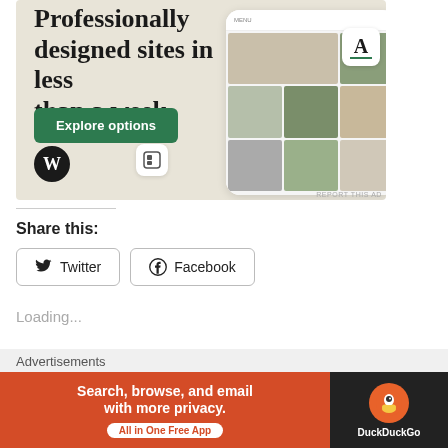[Figure (screenshot): WordPress advertisement banner showing 'Professionally designed sites in less than a week' with a green Explore options button, WordPress logo, and phone mockup showing a website]
Share this:
Twitter
Facebook
Loading...
[Figure (screenshot): DuckDuckGo advertisement: Search, browse, and email with more privacy. All in One Free App]
Advertisements